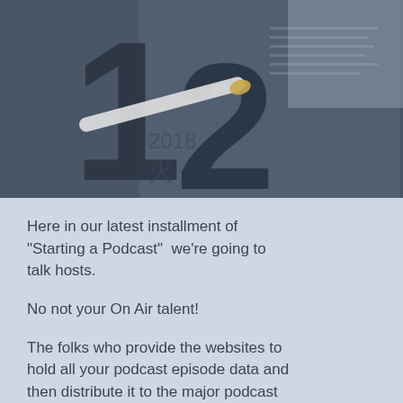[Figure (photo): A dark-toned photograph showing newspapers and what appears to be a pencil overlaid on top, with large bold numbers visible in a dark gray/navy color scheme]
Here in our latest installment of "Starting a Podcast"  we're going to talk hosts.
No not your On Air talent!
The folks who provide the websites to hold all your podcast episode data and then distribute it to the major podcast platforms!
Selecting a host can be a bit of a